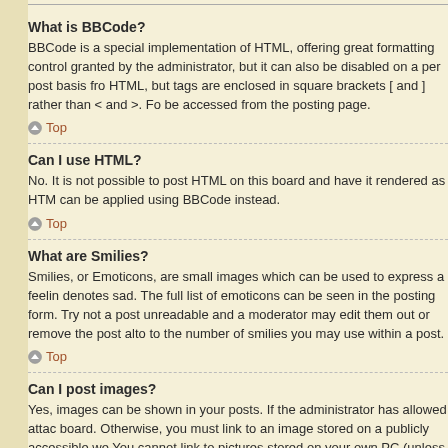What is BBCode?
BBCode is a special implementation of HTML, offering great formatting control granted by the administrator, but it can also be disabled on a per post basis from HTML, but tags are enclosed in square brackets [ and ] rather than < and >. For more information on BBCode see the guide which can be accessed from the posting page.
Top
Can I use HTML?
No. It is not possible to post HTML on this board and have it rendered as HTML. Most formatting which can be applied using BBCode instead.
Top
What are Smilies?
Smilies, or Emoticons, are small images which can be used to express a feeling denotes sad. The full list of emoticons can be seen in the posting form. Try not to overuse smilies, however, as they can make a post unreadable and a moderator may edit them out or remove the post altogether. The board administrator may also have set a limit to the number of smilies you may use within a post.
Top
Can I post images?
Yes, images can be shown in your posts. If the administrator has allowed attachments, you may be able to upload the image to the board. Otherwise, you must link to an image stored on a publicly accessible web server. You cannot link to pictures stored on your own PC (unless it is a publicly accessible server) nor images stored behind authentication mechanisms, e.g. hotmail or yahoo mailboxes, password protected sites, etc.